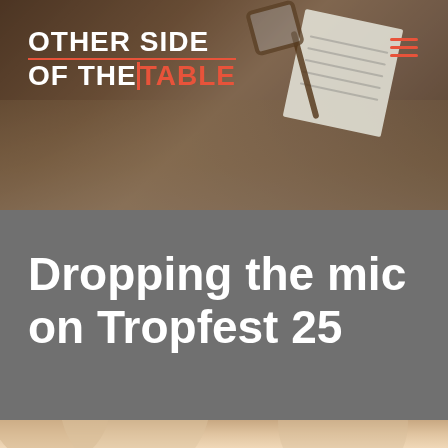[Figure (photo): Hero image showing a desk scene with a notebook/paper, glasses, and warm brown tones, with a dark overlay. Logo 'OTHER SIDE OF THE TABLE' in top left and hamburger menu icon in top right.]
Dropping the mic on Tropfest 25
[Figure (illustration): Decorative bottom strip with circular warm-tone shapes]